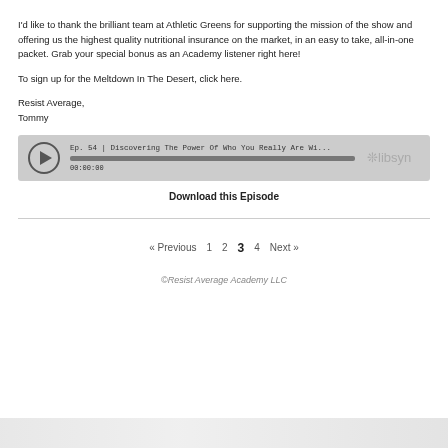I'd like to thank the brilliant team at Athletic Greens for supporting the mission of the show and offering us the highest quality nutritional insurance on the market, in an easy to take, all-in-one packet. Grab your special bonus as an Academy listener right here!
To sign up for the Meltdown In The Desert, click here.
Resist Average,
Tommy
[Figure (other): Audio player widget showing episode: Ep. 54 | Discovering The Power Of Who You Really Are Wi... with a play button, progress bar, timestamp 00:00:00, and libsyn logo]
Download this Episode
« Previous  1  2  3  4  Next »
©Resist Average Academy LLC